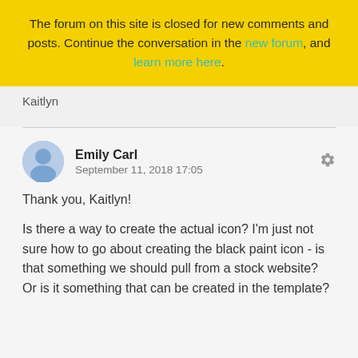The forum on this site is closed for new comments and posts. Continue the conversation in the new forum, and learn more here.
Kaitlyn
Emily Carl
September 11, 2018 17:05
Thank you, Kaitlyn!

Is there a way to create the actual icon? I'm just not sure how to go about creating the black paint icon - is that something we should pull from a stock website? Or is it something that can be created in the template?